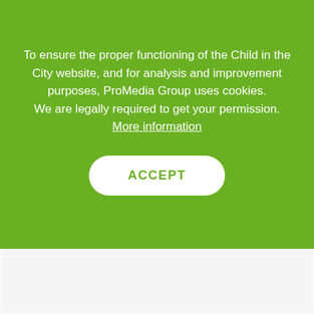To ensure the proper functioning of the Child in the City website, and for analysis and improvement purposes, ProMedia Group uses cookies.
We are legally required to get your permission. More information
[Figure (screenshot): ACCEPT button for cookie consent on green banner]
[Figure (photo): Blurred background showing a website with article images, blurred text lines, category badge, related articles section with thumbnail and blue button]